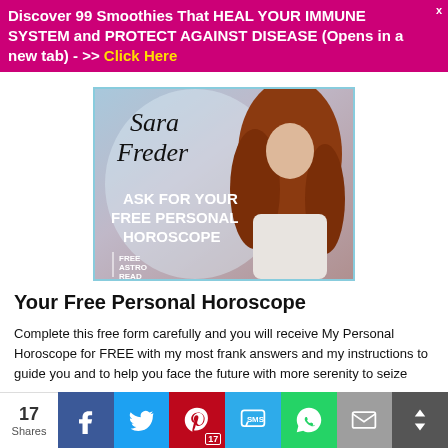Discover 99 Smoothies That HEAL YOUR IMMUNE SYSTEM and PROTECT AGAINST DISEASE (Opens in a new tab) - >> Click Here
[Figure (photo): Sara Freder horoscope advertisement image showing a woman with long red hair and text 'ASK FOR YOUR FREE PERSONAL HOROSCOPE' and 'FREE ASTRO READ']
Your Free Personal Horoscope
Complete this free form carefully and you will receive My Personal Horoscope for FREE with my most frank answers and my instructions to guide you and to help you face the future with more serenity to seize
17 Shares | Facebook | Twitter | Pinterest 17 | SMS | WhatsApp | Email | More